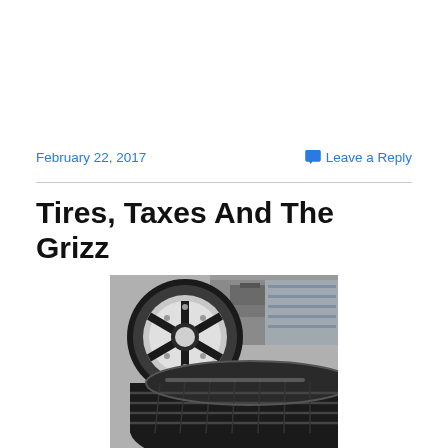February 22, 2017
💬 Leave a Reply
Tires, Taxes And The Grizz
[Figure (photo): Close-up photograph of car tires and a metallic alloy wheel rim in an automotive shop setting]